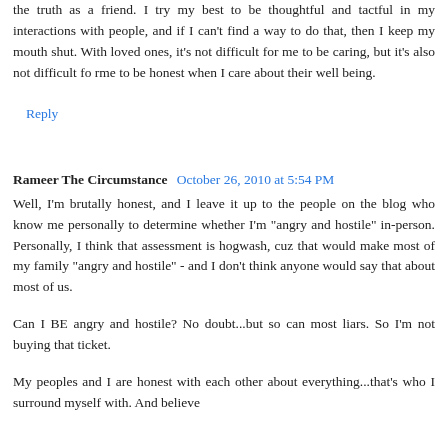the truth as a friend. I try my best to be thoughtful and tactful in my interactions with people, and if I can't find a way to do that, then I keep my mouth shut. With loved ones, it's not difficult for me to be caring, but it's also not difficult fo rme to be honest when I care about their well being.
Reply
Rameer The Circumstance  October 26, 2010 at 5:54 PM
Well, I'm brutally honest, and I leave it up to the people on the blog who know me personally to determine whether I'm "angry and hostile" in-person. Personally, I think that assessment is hogwash, cuz that would make most of my family "angry and hostile" - and I don't think anyone would say that about most of us.
Can I BE angry and hostile? No doubt...but so can most liars. So I'm not buying that ticket.
My peoples and I are honest with each other about everything...that's who I surround myself with. And believe